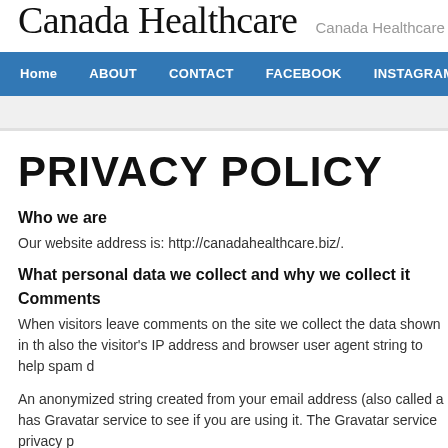Canada Healthcare  Canada Healthcare
Home  ABOUT  CONTACT  FACEBOOK  INSTAGRAM  PRIVACY POL
PRIVACY POLICY
Who we are
Our website address is: http://canadahealthcare.biz/.
What personal data we collect and why we collect it
Comments
When visitors leave comments on the site we collect the data shown in th also the visitor's IP address and browser user agent string to help spam d
An anonymized string created from your email address (also called a has Gravatar service to see if you are using it. The Gravatar service privacy p